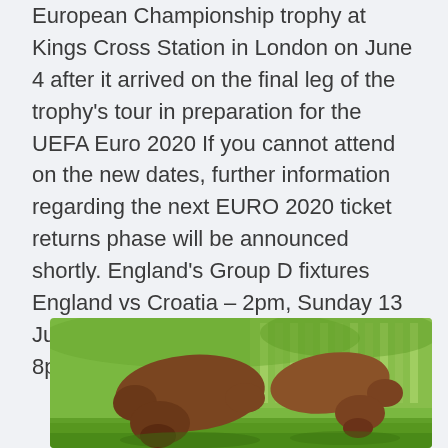European Championship trophy at Kings Cross Station in London on June 4 after it arrived on the final leg of the trophy's tour in preparation for the UEFA Euro 2020 If you cannot attend on the new dates, further information regarding the next EURO 2020 ticket returns phase will be announced shortly. England's Group D fixtures England vs Croatia – 2pm, Sunday 13 June 2021. England vs Scotland – 8pm, Friday 18 June 2021.
[Figure (photo): Two brown dachshund dogs photographed from above, sniffing or eating on green grass, with a blue and green fence/garden background visible behind them.]